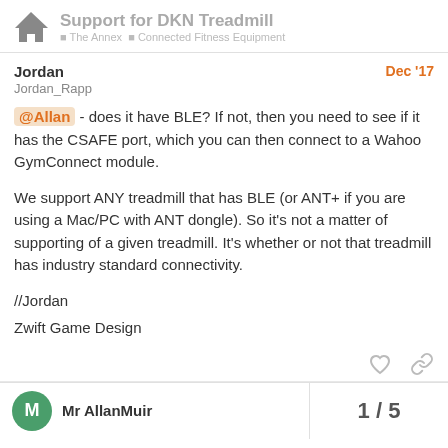Support for DKN Treadmill
Jordan
Jordan_Rapp
Dec '17
@Allan - does it have BLE? If not, then you need to see if it has the CSAFE port, which you can then connect to a Wahoo GymConnect module.

We support ANY treadmill that has BLE (or ANT+ if you are using a Mac/PC with ANT dongle). So it's not a matter of supporting of a given treadmill. It's whether or not that treadmill has industry standard connectivity.

//Jordan

Zwift Game Design
Mr AllanMuir
1 / 5